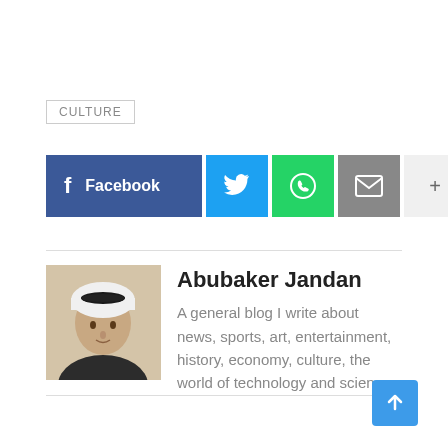CULTURE
[Figure (infographic): Social share buttons: Facebook, Twitter, WhatsApp, Email, More (+)]
[Figure (photo): Portrait photo of Abubaker Jandan, a man wearing traditional Arab headwear]
Abubaker Jandan
A general blog I write about news, sports, art, entertainment, history, economy, culture, the world of technology and science